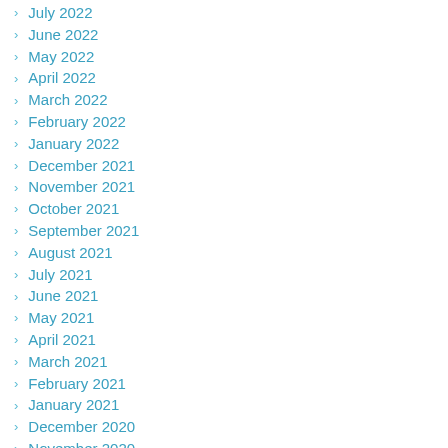July 2022
June 2022
May 2022
April 2022
March 2022
February 2022
January 2022
December 2021
November 2021
October 2021
September 2021
August 2021
July 2021
June 2021
May 2021
April 2021
March 2021
February 2021
January 2021
December 2020
November 2020
October 2020